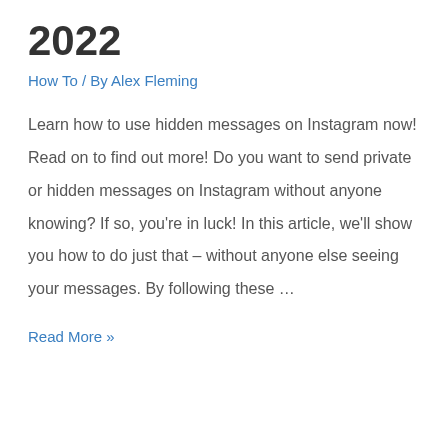2022
How To / By Alex Fleming
Learn how to use hidden messages on Instagram now! Read on to find out more! Do you want to send private or hidden messages on Instagram without anyone knowing? If so, you’re in luck! In this article, we’ll show you how to do just that – without anyone else seeing your messages. By following these …
Read More »